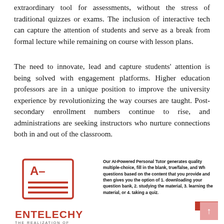extraordinary tool for assessments, without the stress of traditional quizzes or exams. The inclusion of interactive tech can capture the attention of students and serve as a break from formal lecture while remaining on course with lesson plans.
The need to innovate, lead and capture students' attention is being solved with engagement platforms. Higher education professors are in a unique position to improve the university experience by revolutionizing the way courses are taught. Post-secondary enrollment numbers continue to rise, and administrations are seeking instructors who nurture connections both in and out of the classroom.
[Figure (logo): Entelechy logo — red bordered grade card icon with 'A-' and lines, company name ENTELECHY in red bold, tagline: THE REALIZATION OF POTENTIAL]
Our AI-Powered Personal Tutor generates quality multiple-choice, fill in the blank, true/false, and Wh questions based on the content that you provide and then gives you the option of 1. downloading your question bank, 2. studying the material, 3. learning the material, or 4. taking a quiz.